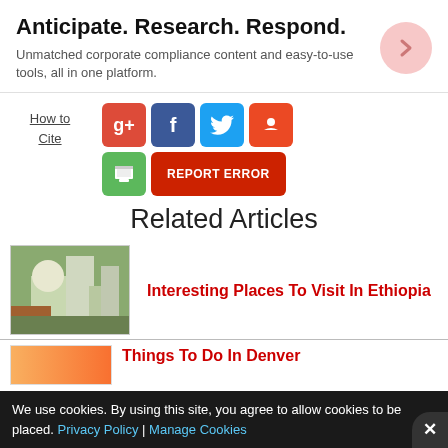Anticipate. Research. Respond.
Unmatched corporate compliance content and easy-to-use tools, all in one platform.
How to
Cite
[Figure (infographic): Social sharing buttons: Google+, Facebook, Twitter, StumbleUpon, Print, Report Error]
Related Articles
[Figure (photo): Aerial photo of Ethiopian buildings/cityscape]
Interesting Places To Visit In Ethiopia
[Figure (photo): Orange gradient thumbnail image]
Things To Do In Denver
We use cookies. By using this site, you agree to allow cookies to be placed. Privacy Policy | Manage Cookies